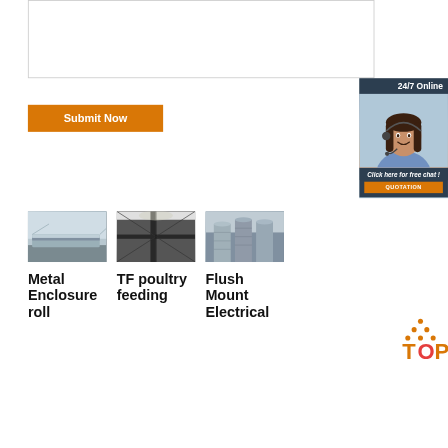[Figure (other): White text input / textarea box with border]
[Figure (other): 24/7 Online customer service chat widget with photo of female agent wearing headset, dark navy background, orange QUOTATION button]
Submit Now
[Figure (photo): Metal enclosure / guardrail on roadside]
[Figure (photo): TF poultry feeding - industrial roof/ceiling structure seen from below]
[Figure (photo): Flush Mount Electrical - industrial storage silos]
Metal Enclosure roll
TF poultry feeding
Flush Mount Electrical